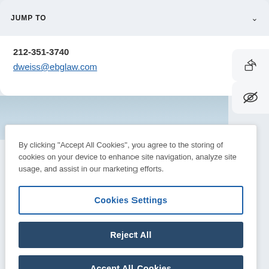JUMP TO
212-351-3740
dweiss@ebglaw.com
[Figure (screenshot): Partial photo of a person in an office/glass building environment]
By clicking "Accept All Cookies", you agree to the storing of cookies on your device to enhance site navigation, analyze site usage, and assist in our marketing efforts.
Cookies Settings
Reject All
Accept All Cookies